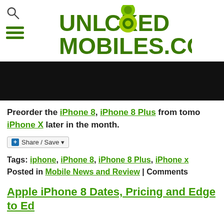UNLOCKED MOBILES.COM
[Figure (photo): Black banner/image area]
Preorder the iPhone 8, iPhone 8 Plus from tomo... iPhone X later in the month.
Share / Save
Tags: iphone, iPhone 8, iPhone 8 Plus, iPhone x
Posted in Mobile News and Review | Comments...
Apple iPhone 8 Dates, Pricing and Edge to Ed...